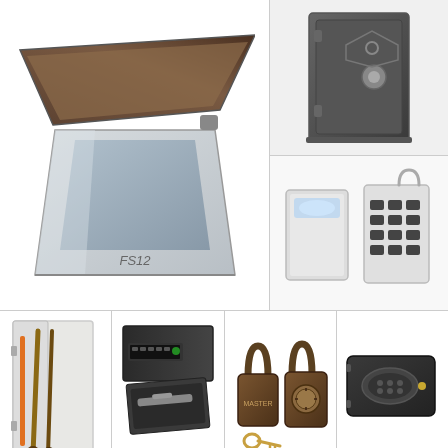[Figure (photo): Open floor safe FS12 with lid open, silver/grey metal construction]
[Figure (photo): Large grey upright gun safe with combination lock dial]
[Figure (photo): Portable key lockbox/safe with keypad, shown open and closed]
[Figure (photo): White wall-mount gun cabinet with rifles stored inside]
[Figure (photo): Black under-desk drawer safe with keypad]
[Figure (photo): Two brown padlocks side by side with keys]
[Figure (photo): Small black flat electronic safe with oval keypad]
5% discount on all our safes
Safesetc
IC: beerworld intern